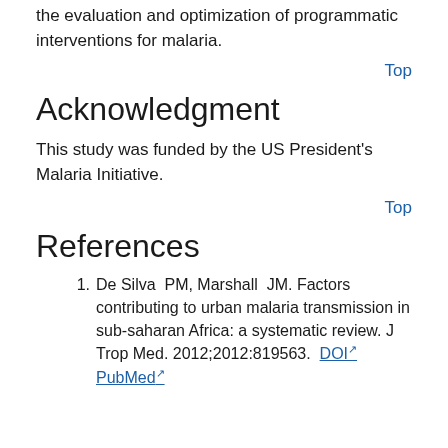the evaluation and optimization of programmatic interventions for malaria.
Top
Acknowledgment
This study was funded by the US President's Malaria Initiative.
Top
References
1. De Silva PM, Marshall JM. Factors contributing to urban malaria transmission in sub-saharan Africa: a systematic review. J Trop Med. 2012;2012:819563. DOI PubMed